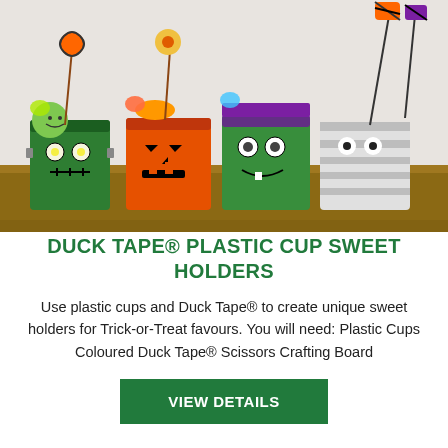[Figure (photo): Photo of four Halloween-themed plastic cups decorated with Duck Tape to look like Frankenstein, a jack-o-lantern, a witch/monster, and a mummy. Each cup is filled with Halloween candy and lollipops.]
DUCK TAPE® PLASTIC CUP SWEET HOLDERS
Use plastic cups and Duck Tape® to create unique sweet holders for Trick-or-Treat favours. You will need: Plastic Cups Coloured Duck Tape® Scissors Crafting Board
VIEW DETAILS